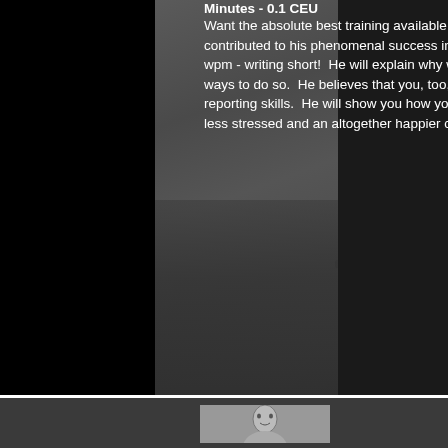Minutes - 0.1 CEU
Want the absolute best training available Mark Kislingbury will share his main "secret" anywhere. that contributed to his phenomenal success in court reporting contests and his Guinness World Record of 360 wpm - writing short! He will explain why writing short is so crucial and then show effective and innovative ways to do so. He believes that you, too, can apply his methods and achieve spectacular results in your reporting skills. He will show you how you can quickly become faster, more accurate, while at the same time less stressed and an altogether happier court reporter, with renewed love for your job.
[Figure (photo): Black and white portrait photo of a person, visible in the bottom section of the page]